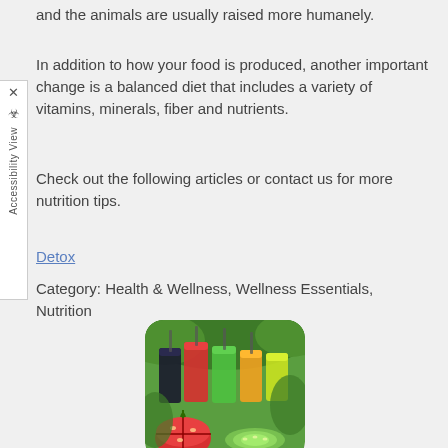and the animals are usually raised more humanely.
In addition to how your food is produced, another important change is a balanced diet that includes a variety of vitamins, minerals, fiber and nutrients.
Check out the following articles or contact us for more nutrition tips.
Detox
Category: Health & Wellness, Wellness Essentials, Nutrition
[Figure (photo): Photo of colorful vegetable and fruit juices in glasses with fresh vegetables and tomatoes in front, rounded corners]